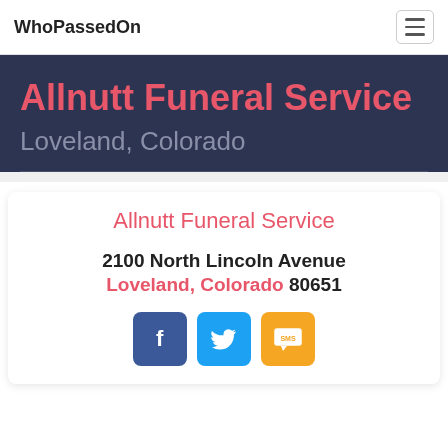WhoPassedOn
Allnutt Funeral Service
Loveland, Colorado
Allnutt Funeral Service
2100 North Lincoln Avenue
Loveland, Colorado 80651
[Figure (infographic): Social sharing buttons: Facebook (blue), Twitter (light blue), SMS (yellow/orange)]